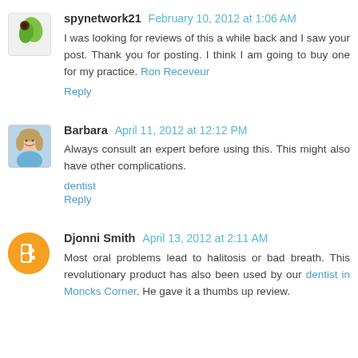spynetwork21  February 10, 2012 at 1:06 AM
I was looking for reviews of this a while back and I saw your post. Thank you for posting. I think I am going to buy one for my practice. Ron Receveur
Reply
Barbara  April 11, 2012 at 12:12 PM
Always consult an expert before using this. This might also have other complications.
dentist
Reply
Djonni Smith  April 13, 2012 at 2:11 AM
Most oral problems lead to halitosis or bad breath. This revolutionary product has also been used by our dentist in Moncks Corner. He gave it a thumbs up review.